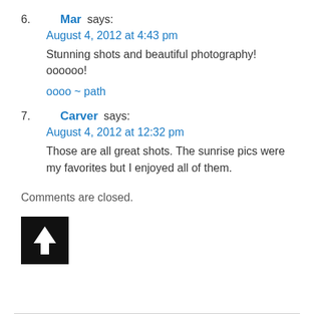6. Mar says:
August 4, 2012 at 4:43 pm
Stunning shots and beautiful photography! oooooo!

oooo ~ path
7. Carver says:
August 4, 2012 at 12:32 pm
Those are all great shots. The sunrise pics were my favorites but I enjoyed all of them.
Comments are closed.
[Figure (other): Black square button with white upward arrow icon]